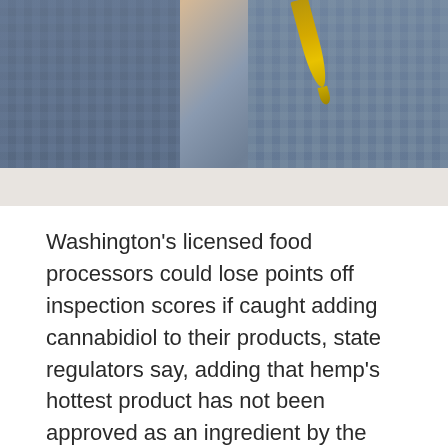[Figure (photo): Close-up photo of a person in a plaid shirt with a dropper releasing golden CBD oil, blurred background outdoors.]
Washington's licensed food processors could lose points off inspection scores if caught adding cannabidiol to their products, state regulators say, adding that hemp's hottest product has not been approved as an ingredient by the Food and Drug Administration.
The ban on making CBD-infused food and